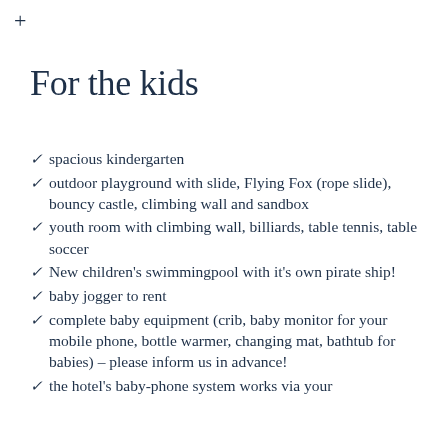For the kids
spacious kindergarten
outdoor playground with slide, Flying Fox (rope slide), bouncy castle, climbing wall and sandbox
youth room with climbing wall, billiards, table tennis, table soccer
New children's swimmingpool with it's own pirate ship!
baby jogger to rent
complete baby equipment (crib, baby monitor for your mobile phone, bottle warmer, changing mat, bathtub for babies) – please inform us in advance!
the hotel's baby-phone system works via your